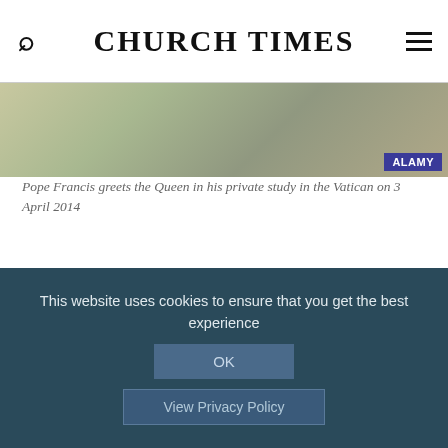CHURCH TIMES
[Figure (photo): Partial view of floral arrangement photo with ALAMY watermark badge]
Pope Francis greets the Queen in his private study in the Vatican on 3 April 2014
AS WE celebrate the Queen's Platinum Jubilee, there will be much discussion of the large changes which have taken place over the past 70 years. In the Church of England and beyond, there will be much shaking of heads at the shrinking of the proportion of the population of England
This website uses cookies to ensure that you get the best experience
OK
View Privacy Policy